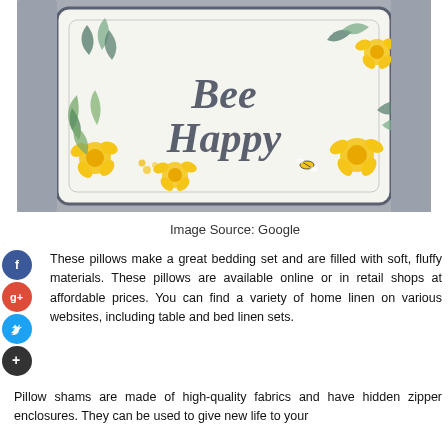[Figure (photo): A decorative pillow with 'Bee Happy' text in script font, surrounded by watercolor yellow flowers and green leaves, resting on a grey sofa.]
Image Source: Google
These pillows make a great bedding set and are filled with soft, fluffy materials. These pillows are available online or in retail shops at affordable prices. You can find a variety of home linen on various websites, including table and bed linen sets.
Pillow shams are made of high-quality fabrics and have hidden zipper enclosures. They can be used to give new life to your